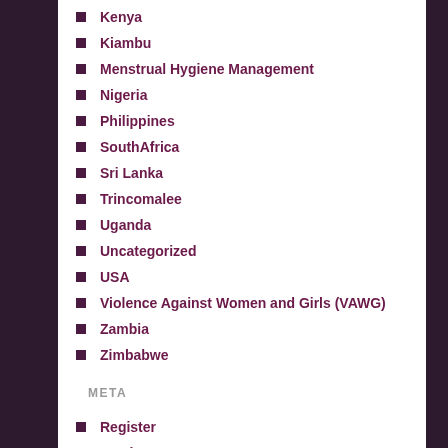Kenya
Kiambu
Menstrual Hygiene Management
Nigeria
Philippines
SouthAfrica
Sri Lanka
Trincomalee
Uganda
Uncategorized
USA
Violence Against Women and Girls (VAWG)
Zambia
Zimbabwe
META
Register
Log in
Entries feed
Comments feed
WordPress.com